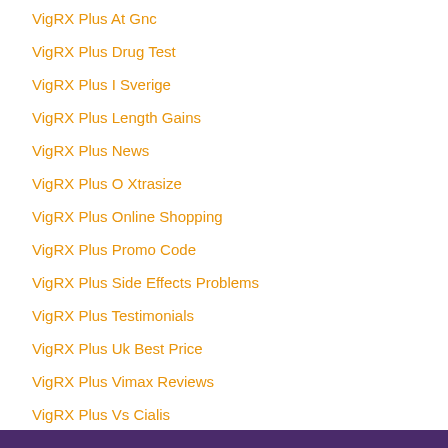VigRX Plus At Gnc
VigRX Plus Drug Test
VigRX Plus I Sverige
VigRX Plus Length Gains
VigRX Plus News
VigRX Plus O Xtrasize
VigRX Plus Online Shopping
VigRX Plus Promo Code
VigRX Plus Side Effects Problems
VigRX Plus Testimonials
VigRX Plus Uk Best Price
VigRX Plus Vimax Reviews
VigRX Plus Vs Cialis
VigRX Plus Vs Naturally Huge
VigRX Plus Vs Sizegenix